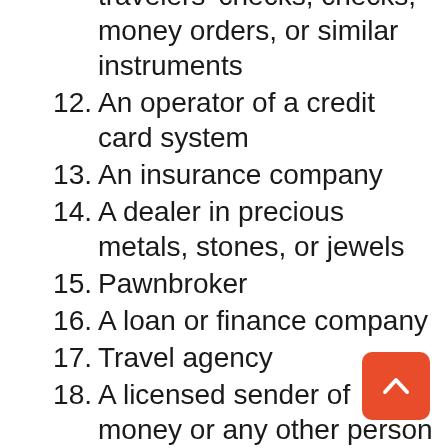travelers' checks, checks, money orders, or similar instruments
12. An operator of a credit card system
13. An insurance company
14. A dealer in precious metals, stones, or jewels
15. Pawnbroker
16. A loan or finance company
17. Travel agency
18. A licensed sender of money or any other person who engages as a business in the transmission of funds, including any person who engages as a business in an informal money transfer system or any network of people who engage as a business in facilitating transfer of money domestically or internationally outside of the